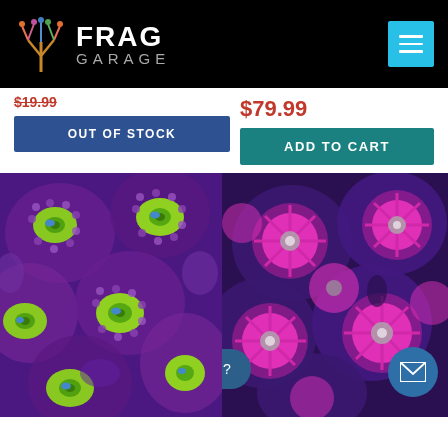FRAG GARAGE
$19.99
$79.99
OUT OF STOCK
ADD TO CART
[Figure (photo): Close-up photo of green and purple zoanthid coral polyps]
[Figure (photo): Close-up photo of pink/magenta and purple zoanthid coral polyps]
How can we help you ?